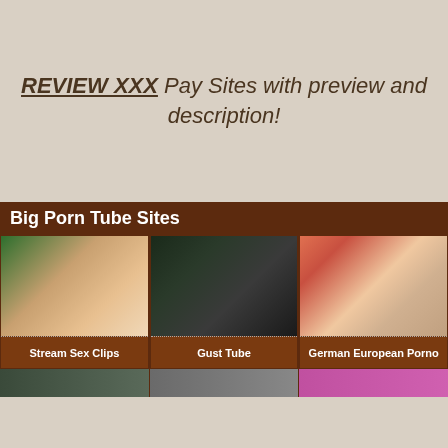REVIEW XXX Pay Sites with preview and description!
Big Porn Tube Sites
[Figure (photo): Thumbnail image 1 - Stream Sex Clips]
Stream Sex Clips
[Figure (photo): Thumbnail image 2 - Gust Tube]
Gust Tube
[Figure (photo): Thumbnail image 3 - German European Porno]
German European Porno